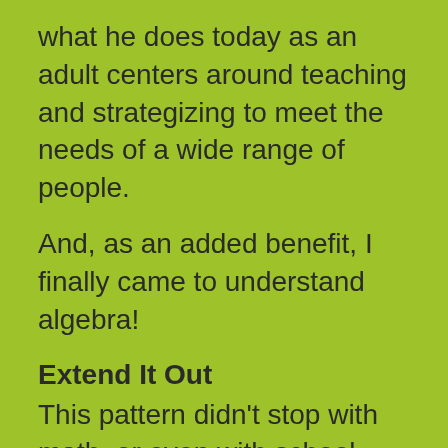what he does today as an adult centers around teaching and strategizing to meet the needs of a wide range of people.
And, as an added benefit, I finally came to understand algebra!
Extend It Out
This pattern didn't stop with math, or even with school subjects in general. As my son grew, he learned to tackle larger challenges. Through each of them, he has taught me so much.
He has taught me how to...